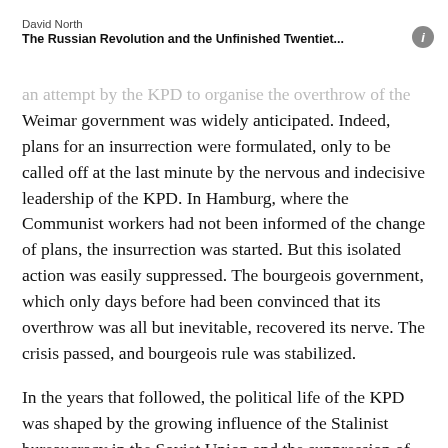David North
The Russian Revolution and the Unfinished Twentiet...
an attempt by the KPD to organise the overthrow of the Weimar government was widely anticipated. Indeed, plans for an insurrection were formulated, only to be called off at the last minute by the nervous and indecisive leadership of the KPD. In Hamburg, where the Communist workers had not been informed of the change of plans, the insurrection was started. But this isolated action was easily suppressed. The bourgeois government, which only days before had been convinced that its overthrow was all but inevitable, recovered its nerve. The crisis passed, and bourgeois rule was stabilized.
In the years that followed, the political life of the KPD was shaped by the growing influence of the Stalinist bureaucracy in the Soviet Union and the suppression of the Left Opposition led by Leon Trotsky. The victory of Stalinism in the Soviet Union was to have tragic